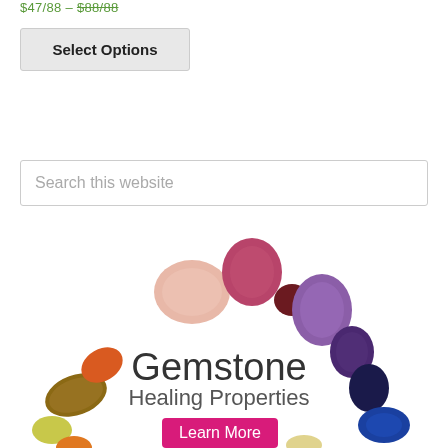$47/88 – $88/88
Select Options
Search this website
[Figure (illustration): A circular arc arrangement of colorful tumbled gemstones (brown tiger eye, orange carnelian, pink rose quartz, red rhodonite, dark red, purple amethyst, dark purple, dark blue, lapis lazuli, lime yellow, orange, clear/yellow at bottom) arranged in a rainbow arc. Text reads 'Gemstone Healing Properties' with a pink 'Learn More' button.]